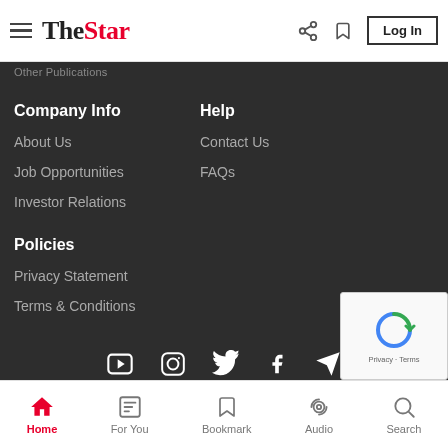The Star — hamburger menu, logo, share icon, bookmark icon, Log In button
Other Publications
Company Info
About Us
Job Opportunities
Investor Relations
Help
Contact Us
FAQs
Policies
Privacy Statement
Terms & Conditions
[Figure (infographic): Social media icons row: YouTube, Instagram, Twitter, Facebook, Telegram]
[Figure (other): reCAPTCHA widget showing circular arrow logo and Privacy · Terms text]
Home | For You | Bookmark | Audio | Search — bottom navigation bar